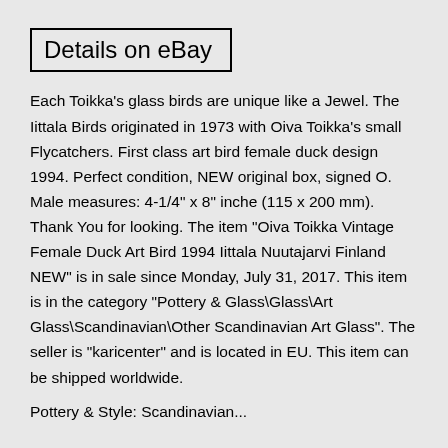Details on eBay
Each Toikka’s glass birds are unique like a Jewel. The Iittala Birds originated in 1973 with Oiva Toikka’s small Flycatchers. First class art bird female duck design 1994. Perfect condition, NEW original box, signed O. Male measures: 4-1/4” x 8” inche (115 x 200 mm). Thank You for looking. The item “Oiva Toikka Vintage Female Duck Art Bird 1994 Iittala Nuutajarvi Finland NEW” is in sale since Monday, July 31, 2017. This item is in the category “Pottery & Glass\Glass\Art Glass\Scandinavian\Other Scandinavian Art Glass”. The seller is “karicenter” and is located in EU. This item can be shipped worldwide.
Pottery & Style: Scandinavian...